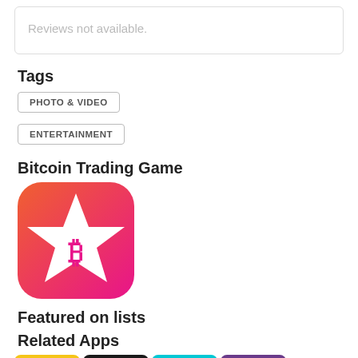Reviews not available.
Tags
PHOTO & VIDEO
ENTERTAINMENT
Bitcoin Trading Game
[Figure (logo): Bitcoin Trading Game app icon: rounded square with orange-to-pink gradient background, white star shape in center with a pink Bitcoin symbol (₿) on it.]
Featured on lists
Related Apps
[Figure (screenshot): Row of four app icon thumbnails for related apps: a fox/animal icon on yellow, a camera/spiral icon on dark, a colorful circular icon on cyan, and a man with glasses on purple background.]